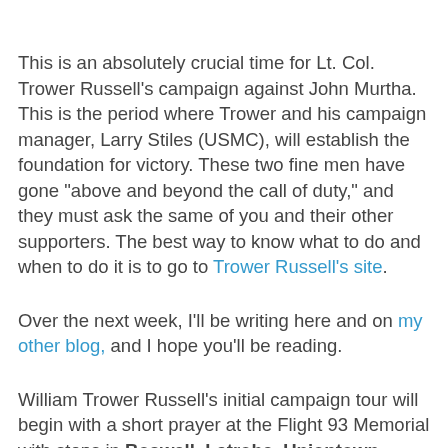This is an absolutely crucial time for Lt. Col. Trower Russell's campaign against John Murtha. This is the period where Trower and his campaign manager, Larry Stiles (USMC), will establish the foundation for victory. These two fine men have gone "above and beyond the call of duty," and they must ask the same of you and their other supporters. The best way to know what to do and when to do it is to go to Trower Russell's site.
Over the next week, I'll be writing here and on my other blog, and I hope you'll be reading.
William Trower Russell's initial campaign tour will begin with a short prayer at the Flight 93 Memorial with stops in Boswell, Latrobe, Uniontown, Waynesburg, Washington, Arnold, Ford City, Indiana and Johnstown. Russell's website will chronicle Russell's travels across the 12th District with descriptions from the candidate